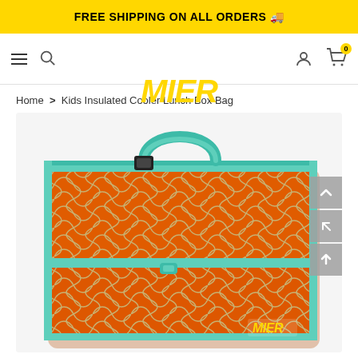FREE SHIPPING ON ALL ORDERS 🚚
[Figure (logo): MIER brand logo in yellow italic bold text]
Home > Kids Insulated Cooler Lunch Box Bag
[Figure (photo): Orange and teal kids insulated cooler lunch box bag with geometric diamond pattern, teal zipper trim and handle, front pocket with teal pull, MIER logo on front bottom right]